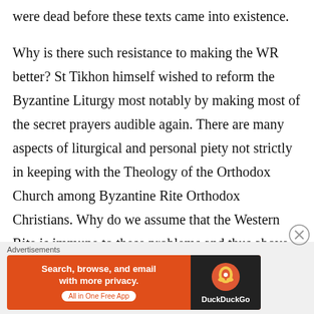were dead before these texts came into existence.
Why is there such resistance to making the WR better? St Tikhon himself wished to reform the Byzantine Liturgy most notably by making most of the secret prayers audible again. There are many aspects of liturgical and personal piety not strictly in keeping with the Theology of the Orthodox Church among Byzantine Rite Orthodox Christians. Why do we assume that the Western Rite is immune to these problems and thus above further restoration like the rest of the Orthodox liturgical world?
Advertisements
[Figure (screenshot): DuckDuckGo advertisement banner: 'Search, browse, and email with more privacy. All in One Free App' with DuckDuckGo logo on dark background.]